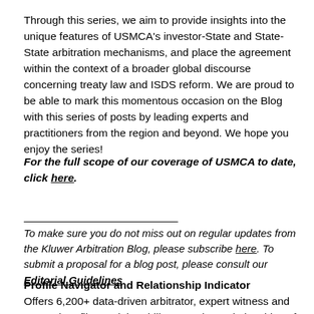Through this series, we aim to provide insights into the unique features of USMCA's investor-State and State-State arbitration mechanisms, and place the agreement within the context of a broader global discourse concerning treaty law and ISDS reform. We are proud to be able to mark this momentous occasion on the Blog with this series of posts by leading experts and practitioners from the region and beyond. We hope you enjoy the series!
For the full scope of our coverage of USMCA to date, click here.
To make sure you do not miss out on regular updates from the Kluwer Arbitration Blog, please subscribe here. To submit a proposal for a blog post, please consult our Editorial Guidelines.
Profile Navigator and Relationship Indicator Offers 6,200+ data-driven arbitrator, expert witness and counsel profiles and the ability to explore relationships of 13,500+ arbitration practitioners and experts for potential conflicts of